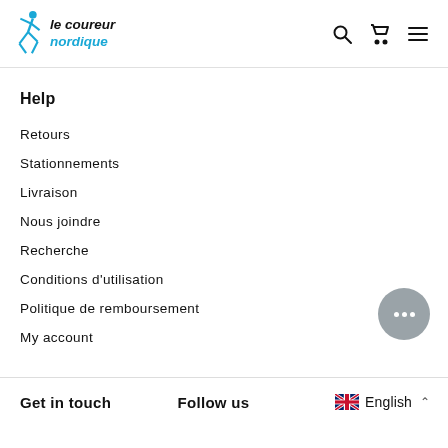le coureur nordique
Help
Retours
Stationnements
Livraison
Nous joindre
Recherche
Conditions d'utilisation
Politique de remboursement
My account
Get in touch   Follow us   English